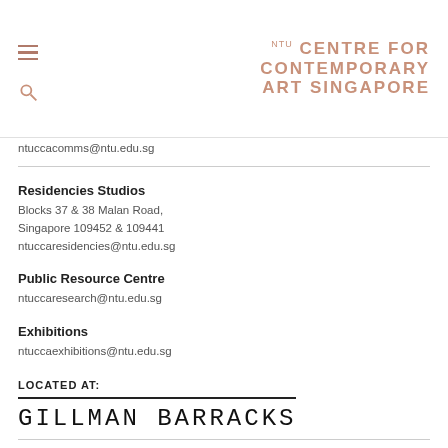NTU CENTRE FOR CONTEMPORARY ART SINGAPORE
ntuccacomms@ntu.edu.sg
Residencies Studios
Blocks 37 & 38 Malan Road, Singapore 109452 & 109441
ntuccaresidencies@ntu.edu.sg
Public Resource Centre
ntuccaresearch@ntu.edu.sg
Exhibitions
ntuccaexhibitions@ntu.edu.sg
LOCATED AT:
[Figure (logo): Gillman Barracks logo text in monospaced uppercase font with a horizontal rule above]